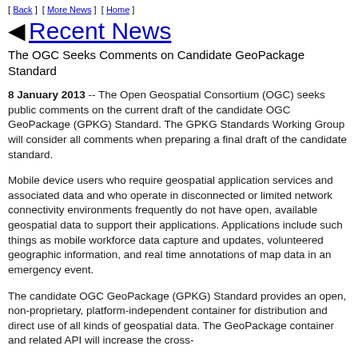[ Back ]  [ More News ]  [ Home ]
◀ Recent News
The OGC Seeks Comments on Candidate GeoPackage Standard
8 January 2013 -- The Open Geospatial Consortium (OGC) seeks public comments on the current draft of the candidate OGC GeoPackage (GPKG) Standard. The GPKG Standards Working Group will consider all comments when preparing a final draft of the candidate standard.
Mobile device users who require geospatial application services and associated data and who operate in disconnected or limited network connectivity environments frequently do not have open, available geospatial data to support their applications. Applications include such things as mobile workforce data capture and updates, volunteered geographic information, and real time annotations of map data in an emergency event.
The candidate OGC GeoPackage (GPKG) Standard provides an open, non-proprietary, platform-independent container for distribution and direct use of all kinds of geospatial data. The GeoPackage container and related API will increase the cross-